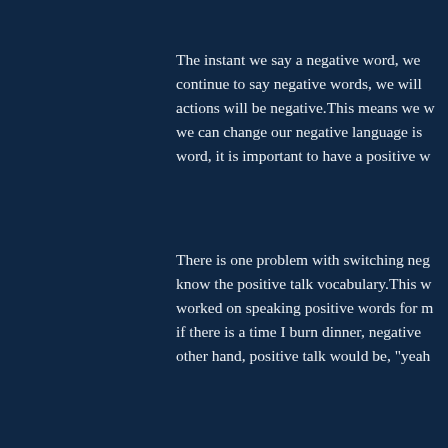The instant we say a negative word, we continue to say negative words, we will actions will be negative.This means we we can change our negative language is word, it is important to have a positive w
There is one problem with switching neg know the positive talk vocabulary.This w worked on speaking positive words for m if there is a time I burn dinner, negative other hand, positive talk would be, "yeah